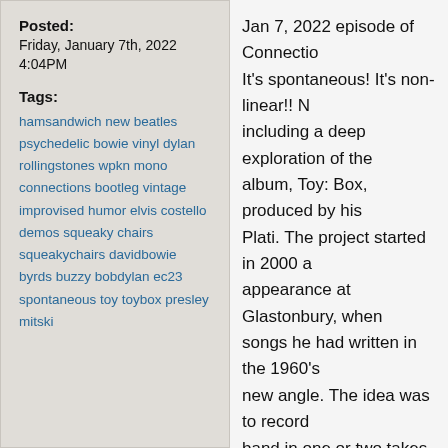Posted:
Friday, January 7th, 2022
4:04PM
Tags:
hamsandwich new beatles psychedelic bowie vinyl dylan rollingstones wpkn mono connections bootleg vintage improvised humor elvis costello demos squeaky chairs squeakychairs davidbowie byrds buzzy bobdylan ec23 spontaneous toy toybox presley mitski
Jan 7, 2022 episode of Connections. It's spontaneous! It's non-linear!! M including a deep exploration of the album, Toy: Box, produced by his Plati. The project started in 2000 a appearance at Glastonbury, when songs he had written in the 1960's new angle. The idea was to record band in one or two takes, with a m kind of sound they were already e
The sessions included Earl Slick a guitars, Gail Anne Dorsey on bass, Mike Garson on keyboards and M amongst others, with some of the Visconti. For the most part, David through, going for the performance takes.
The results are outstanding!!!
CD2 of the box set features altern peak power. CD3 focuses on aco